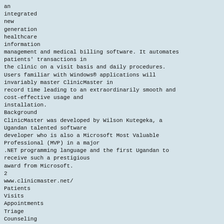an integrated new generation healthcare information management and medical billing software. It automates patients' transactions in the clinic on a visit basis and daily procedures. Users familiar with Windows® applications will invariably master ClinicMaster in record time leading to an extraordinarily smooth and cost-effective usage and installation.
Background
ClinicMaster was developed by Wilson Kutegeka, a Ugandan talented software developer who is also a Microsoft Most Valuable Professional (MVP) in a major .NET programming language and the first Ugandan to receive such a prestigious award from Microsoft.
2
www.clinicmaster.net/
Patients
Visits
Appointments
Triage
Counseling
Doctor/Clinical Officer
Hospitalizations
Other(s)
Radiology